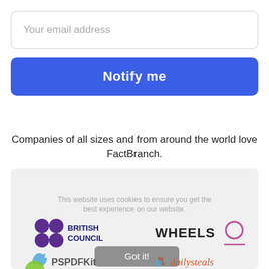Your email address
Notify me
Companies of all sizes and from around the world love FactBranch.
[Figure (logo): Logos of British Council, Wheels, PSPDFKit, dailysteals and other companies in a grey background box. Cookie consent overlay with 'This website uses cookies to ensure you get the best experience on our website.' and 'Got it!' button.]